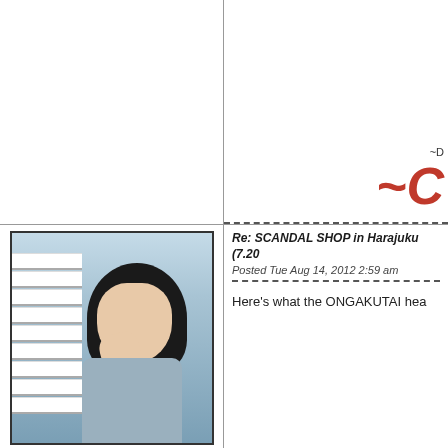[Figure (other): Empty white area top left panel]
~D
~C
[Figure (photo): Photo of a young woman with dark hair, eyes closed, hand raised near face, against blinds/window background]
Re: SCANDAL SHOP in Harajuku (7.20
Posted Tue Aug 14, 2012 2:59 am
Here's what the ONGAKUTAI hea